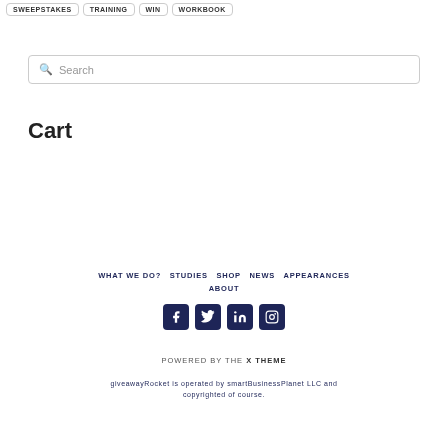SWEEPSTAKES  TRAINING  WIN  WORKBOOK
Search
Cart
WHAT WE DO?  STUDIES  SHOP  NEWS  APPEARANCES  ABOUT
[Figure (other): Social media icons: Facebook, Twitter, LinkedIn, Instagram]
POWERED BY THE X THEME
giveawayRocket is operated by smartBusinessPlanet LLC and copyrighted of course.